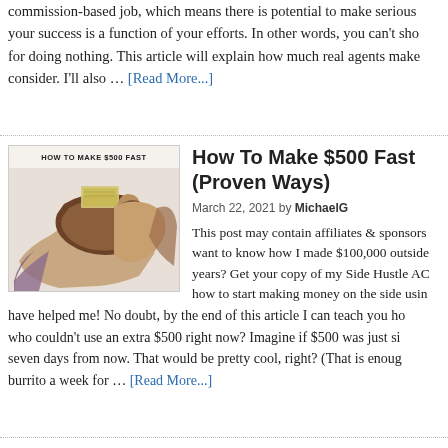commission-based job, which means there is potential to make serious money — your success is a function of your efforts. In other words, you can't show up for doing nothing. This article will explain how much real agents make and consider. I'll also … [Read More...]
[Figure (photo): Photo of hands holding open a wallet with cash, with text 'HOW TO MAKE $500 FAST' at top]
How To Make $500 Fast (Proven Ways)
March 22, 2021 by MichaelG
This post may contain affiliates & sponsors. want to know how I made $100,000 outside years? Get your copy of my Side Hustle AC how to start making money on the side using have helped me! No doubt, by the end of this article I can teach you how who couldn't use an extra $500 right now? Imagine if $500 was just sitting seven days from now. That would be pretty cool, right? (That is enough burrito a week for … [Read More...]